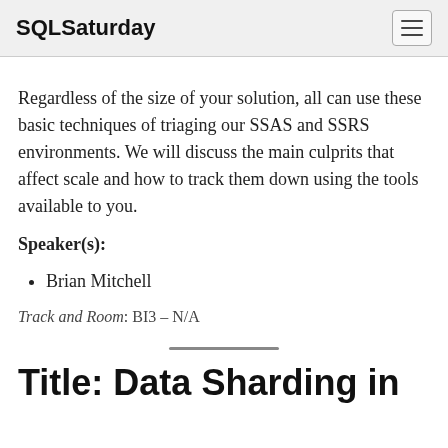SQLSaturday
Regardless of the size of your solution, all can use these basic techniques of triaging our SSAS and SSRS environments. We will discuss the main culprits that affect scale and how to track them down using the tools available to you.
Speaker(s):
Brian Mitchell
Track and Room: BI3 – N/A
Title: Data Sharding in